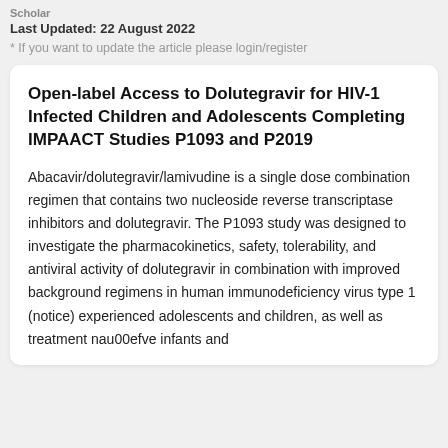Last Updated: 22 August 2022
* If you want to update the article please login/register
Open-label Access to Dolutegravir for HIV-1 Infected Children and Adolescents Completing IMPAACT Studies P1093 and P2019
Abacavir/dolutegravir/lamivudine is a single dose combination regimen that contains two nucleoside reverse transcriptase inhibitors and dolutegravir. The P1093 study was designed to investigate the pharmacokinetics, safety, tolerability, and antiviral activity of dolutegravir in combination with improved background regimens in human immunodeficiency virus type 1 (notice) experienced adolescents and children, as well as treatment nau00efve infants and